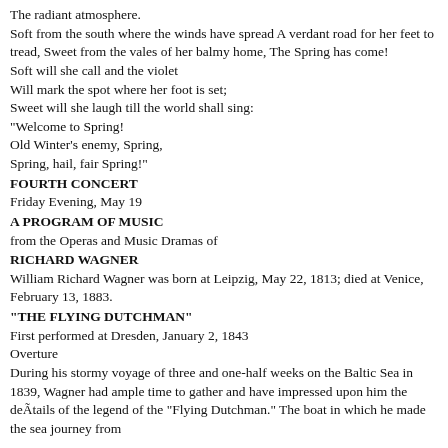The radiant atmosphere.
Soft from the south where the winds have spread A verdant road for her feet to tread, Sweet from the vales of her balmy home, The Spring has come!
Soft will she call and the violet
Will mark the spot where her foot is set;
Sweet will she laugh till the world shall sing:
"Welcome to Spring!
Old Winter's enemy, Spring,
Spring, hail, fair Spring!"
FOURTH CONCERT
Friday Evening, May 19
A PROGRAM OF MUSIC
from the Operas and Music Dramas of
RICHARD WAGNER
William Richard Wagner was born at Leipzig, May 22, 1813; died at Venice, February 13, 1883.
"THE FLYING DUTCHMAN"
First performed at Dresden, January 2, 1843
Overture
During his stormy voyage of three and one-half weeks on the Baltic Sea in 1839, Wagner had ample time to gather and have impressed upon him the deÃtails of the legend of the "Flying Dutchman." The boat in which he made the sea journey from